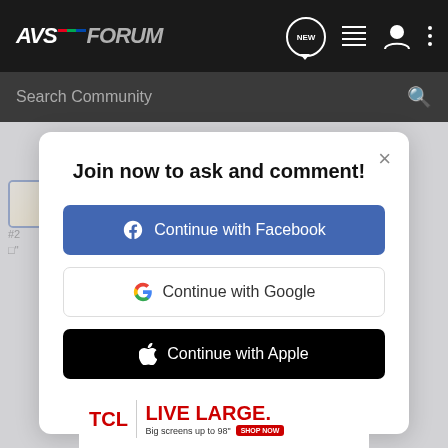[Figure (screenshot): AVSForum navigation bar with logo, NEW chat icon, list icon, user icon, and three-dot menu icon]
[Figure (screenshot): Search Community input bar with magnifying glass icon]
Join now to ask and comment!
[Figure (screenshot): Continue with Facebook button (blue background, Facebook logo)]
[Figure (screenshot): Continue with Google button (white background, Google G logo)]
[Figure (screenshot): Continue with Apple button (black background, Apple logo)]
or sign up with email
[Figure (screenshot): TCL LIVE LARGE ad banner — Big screens up to 98" SHOP NOW]